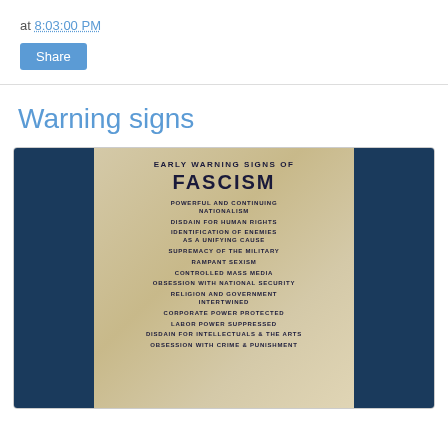at 8:03:00 PM
Share
Warning signs
[Figure (photo): A photograph of a placard titled 'Early Warning Signs of Fascism' listing: Powerful and Continuing Nationalism, Disdain for Human Rights, Identification of Enemies as a Unifying Cause, Supremacy of the Military, Rampant Sexism, Controlled Mass Media, Obsession with National Security, Religion and Government Intertwined, Corporate Power Protected, Labor Power Suppressed, Disdain for Intellectuals & the Arts, Obsession with Crime & Punishment. The sign is displayed against a dark blue background.]